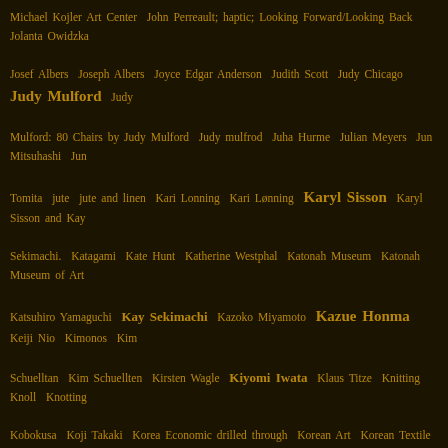Michael Kojler Art Center  John Perreault; haptic; Looking Forward/Looking Back  Jolanta Owidzka  Josef Albers  Joseph Albers  Joyce Edgar Anderson  Judith Scott  Judy Chicago  Judy Mulford  Judy Mulford: 80 Chairs by Judy Mulford  Judy mulfrod  Juha Hurme  Julian Meyers  Jun Mitsuhashi  Jun Tomita  jute  jute and linen  Kari Lonning  Kari Lønning  Karyl Sisson  Karyl Sisson and Kay Sekimachi.  Katagami  Kate Hunt  Katherine Westphal  Katonah Museum  Katonah Museum of Art  Katsuhiro Yamaguchi  Kay Sekimachi  Kazoko Miyamoto  Kazue Honma  Keiji Nio  Kimonos  Kim Schuelltan  Kim Schuellten  Kirsten Wagle  Kiyomi Iwata  Klaus Titze  Knitting  Knoll  Knotting  Kobokusa  Koji Takaki  Korea Economic drilled through  Korean Art  Korean Textile  Kozo  Krystyna Wojtyna-Drouet  Kyle Norton  Kyoko Kuma  Kyoko Kumai  Kyoko Kumai; Hisako Sekijima  Kyoko Nitta  Kyra Cane  lace  LACMA  Lady Sings the Blues  Lands' End  Larence LaBianca  Large Basket Art  large ceramicq  Large Shallow Bowl  Latin American art  Latvian Tapestry  Laumeier Sculpture Park  Laura Bacon  Laura Cunningham  Laura Ellen Bacon  Laura Foster Nicholson  Laura Thomas  Laurie Hall  Lausanne Biennals  Lawrence LaBianca  Leah Hager Cohen  Lectures  lectures  Lee Hong Chang  Lena  Lena McGrath Welker  Lena Welker  Lenore Tawney  Lenore Tawney: Drawings in Air  lenore Tawney; collage; valentines day; heart  Lenore Tawney; Jennifer Falck Linssen; Polly Adams Sutton; Åse Ljones  Leon and Sharon Niehues  Leon Niehues  Leo Tolstoy.  Lesley Dill  Lesley Millar  lewis kna  Lewis Knauss  Lia Cook  Lia Cook: In the Folds  Life  light